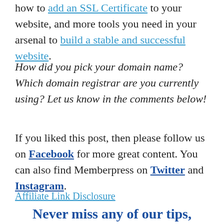how to add an SSL Certificate to your website, and more tools you need in your arsenal to build a stable and successful website.
How did you pick your domain name? Which domain registrar are you currently using? Let us know in the comments below!
If you liked this post, then please follow us on Facebook for more great content. You can also find Memberpress on Twitter and Instagram.
Affiliate Link Disclosure
Never miss any of our tips,